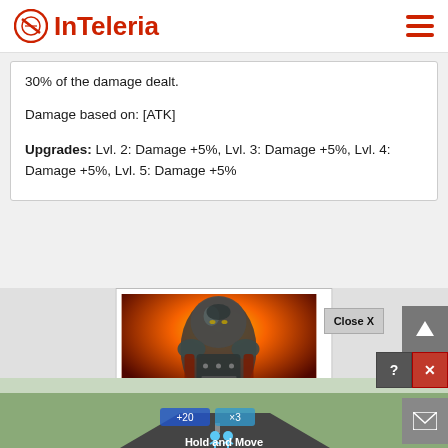InTeleria
30% of the damage dealt.
Damage based on: [ATK]
Upgrades: Lvl. 2: Damage +5%, Lvl. 3: Damage +5%, Lvl. 4: Damage +5%, Lvl. 5: Damage +5%
[Figure (screenshot): Game advertisement showing an armored warrior character with fire background, and a mobile game UI overlay showing 'Hold and Move' instruction with blue icons]
Close X
Hold and Move